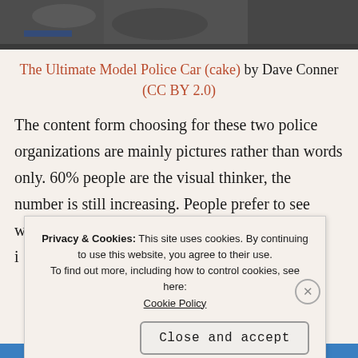[Figure (photo): Dark overhead photo of a model police car scene, partially visible at the top of the page]
The Ultimate Model Police Car (cake) by Dave Conner (CC BY 2.0)
The content form choosing for these two police organizations are mainly pictures rather than words only. 60% people are the visual thinker, the number is still increasing. People prefer to see words with i s r
Privacy & Cookies: This site uses cookies. By continuing to use this website, you agree to their use.
To find out more, including how to control cookies, see here: Cookie Policy
Close and accept